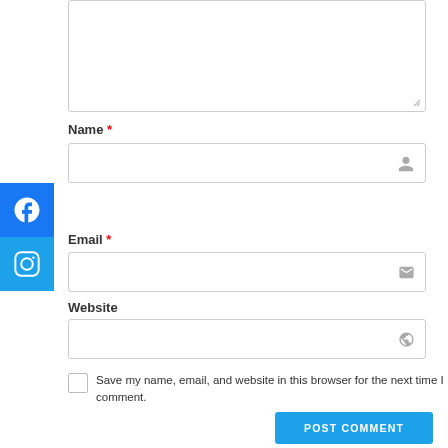[Figure (screenshot): Comment text area input box (partially visible at top)]
Name *
[Figure (screenshot): Name input field with person icon]
Email *
[Figure (screenshot): Email input field with envelope icon]
Website
[Figure (screenshot): Website input field with globe icon]
Save my name, email, and website in this browser for the next time I comment.
[Figure (screenshot): POST COMMENT button]
[Figure (screenshot): Social media sidebar with Facebook and Instagram icons]